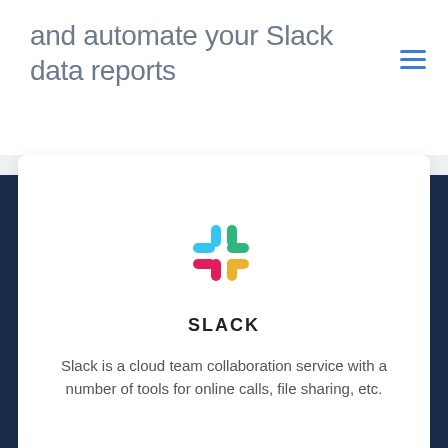and automate your Slack data reports
[Figure (logo): Slack logo — four rounded-rectangle petals in teal, green, red/pink, and yellow arranged in a 2×2 grid with small connecting bars]
SLACK
Slack is a cloud team collaboration service with a number of tools for online calls, file sharing, etc.